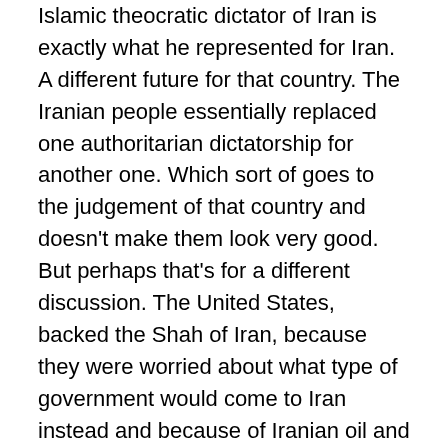Islamic theocratic dictator of Iran is exactly what he represented for Iran. A different future for that country. The Iranian people essentially replaced one authoritarian dictatorship for another one. Which sort of goes to the judgement of that country and doesn't make them look very good. But perhaps that's for a different discussion. The United States, backed the Shah of Iran, because they were worried about what type of government would come to Iran instead and because of Iranian oil and gas.
The United States and the United Kingdom, interfered with the governmental operations of Iran for almost forty-years, because they were worried about the Shah falling and being replaced by an anti-Western authoritarian regime. But that is exactly what they got anyway which was an extreme Far-Right Islamic theocratic government to replace a more moderate and reasonable monarchy that